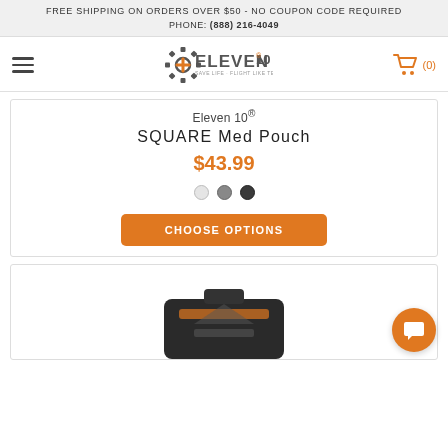FREE SHIPPING ON ORDERS OVER $50 - NO COUPON CODE REQUIRED
PHONE: (888) 216-4049
[Figure (logo): Eleven 10 logo with gear icon and orange plus sign]
Eleven 10®
SQUARE Med Pouch
$43.99
[Figure (other): Three color swatches: light gray, medium gray, dark gray]
CHOOSE OPTIONS
[Figure (photo): Partial product image of a tactical pouch at the bottom of the page]